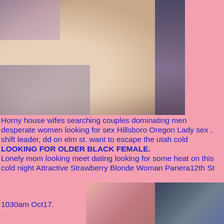[Figure (photo): Close-up photo of a person's lower back/torso area with dark fabric visible]
Horny house wifes searching couples dominating men desperate women looking for sex Hillsboro Oregon Lady sex , shift leader, dd on elm st. want to escape the utah cold LOOKING FOR OLDER BLACK FEMALE.
Lonely mom looking meet dating looking for some heat on this cold night Attractive Strawberry Blonde Woman Panera12th St
[Figure (photo): Grid of smaller photos]
1030am Oct17.